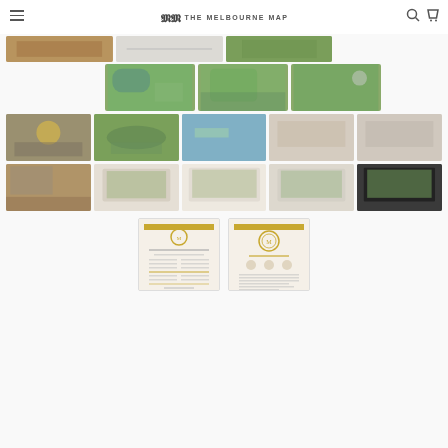THE MELBOURNE MAP
[Figure (screenshot): E-commerce product gallery page for 'The Melbourne Map' showing a grid of thumbnail images: map close-ups, framed prints in room settings, and product information sheets.]